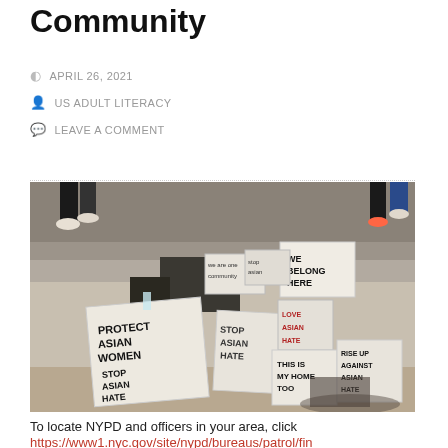Community
APRIL 26, 2021
US ADULT LITERACY
LEAVE A COMMENT
[Figure (photo): Protest signs on steps, reading: PROTECT ASIAN WOMEN, STOP ASIAN HATE, STOP ASIAN HATE, THIS IS MY HOME TOO, RISE UP AGAINST ASIAN HATE, WE BELONG HERE, and other signs]
To locate NYPD and officers in your area, click
https://www1.nyc.gov/site/nypd/bureaus/patrol/fin